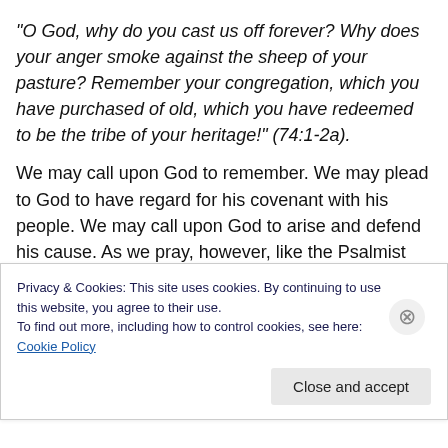“O God, why do you cast us off forever? Why does your anger smoke against the sheep of your pasture? Remember your congregation, which you have purchased of old, which you have redeemed to be the tribe of your heritage!” (74:1-2a).
We may call upon God to remember. We may plead to God to have regard for his covenant with his people. We may call upon God to arise and defend his cause. As we pray, however, like the Psalmist we too must remember how God has rescued in the past, we ourselves must have
Privacy & Cookies: This site uses cookies. By continuing to use this website, you agree to their use.
To find out more, including how to control cookies, see here: Cookie Policy